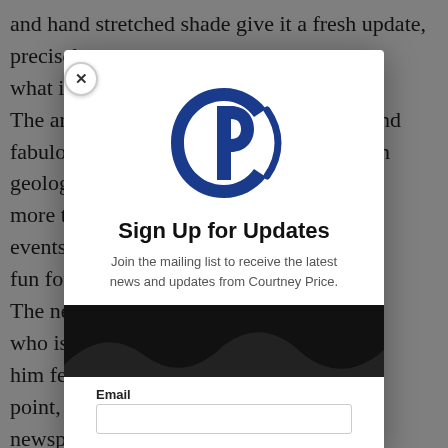and hand stretched shade give it a fresh update, precisely what had in mind. The ar d and fabulo ess on geolog hey, more t d the events . How fun for The ne lient, who is akes him fe IS the point, for newsp ather than to of the old ge lub (below had a phot
[Figure (logo): Courtney Price logo: intertwined P and C letters in dark blue serif style]
Sign Up for Updates
Join the mailing list to receive the latest news and updates from Courtney Price.
[Figure (photo): Black wave/dark image area below modal text]
Email